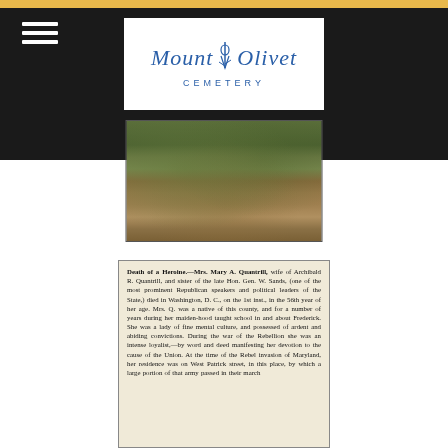[Figure (logo): Mount Olivet Cemetery logo with stylized figure on white background, blue text]
[Figure (photo): Ground-level photograph of a grave plot showing grass and soil]
[Figure (photo): Scanned newspaper clipping: Death of a Heroine — Mrs. Mary A. Quantrill obituary article describing her death in Washington D.C. at age 56, her connection to Frederick Maryland, her loyalty during the Civil War Rebellion, and the Rebel invasion of Maryland passing her residence on West Patrick street.]